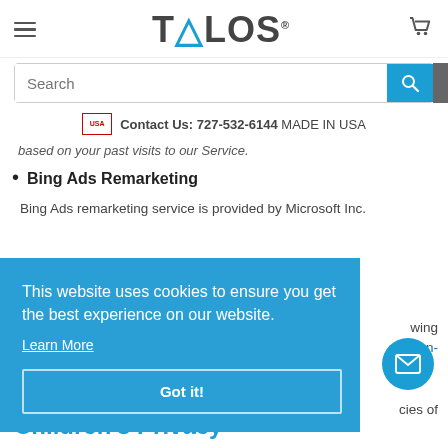TALOS — Contact Us: 727-532-6144 MADE IN USA
based on your past visits to our Service.
Bing Ads Remarketing
Bing Ads remarketing service is provided by Microsoft Inc.
This website uses cookies to ensure you get the best experience on our website.
Learn More
Got it!
Children's Privacy